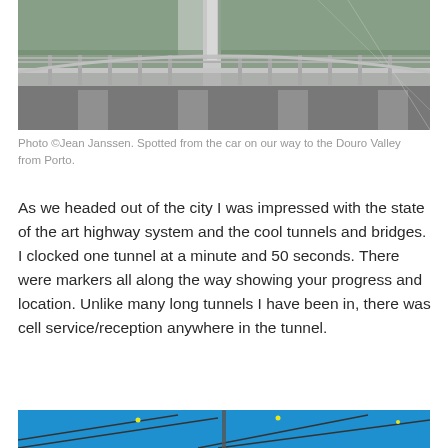[Figure (photo): Aerial/car-window view of a large concrete bridge with guardrails and a tall pylon, with forested hills in the background. Photo taken from a moving car.]
Photo ©Jean Janssen. Spotted from the car on our way to the Douro Valley from Porto.
As we headed out of the city I was impressed with the state of the art highway system and the cool tunnels and bridges.  I clocked one tunnel at a minute and 50 seconds.  There were markers all along the way showing your progress and location. Unlike many long tunnels I have been in, there was cell service/reception anywhere in the tunnel.
[Figure (photo): Blue sky photo with cables or wires visible, partially cut off at bottom of page.]